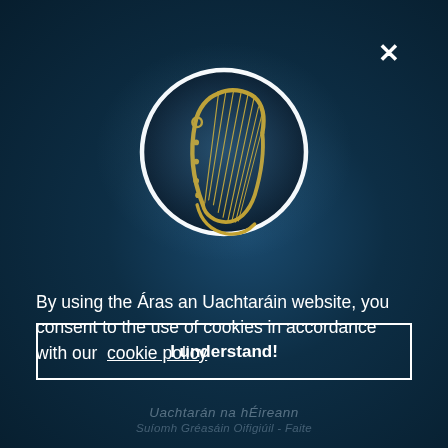[Figure (logo): Áras an Uachtaráin circular logo featuring the Irish harp in gold on dark navy background with white circular border and radial glow effect]
By using the Áras an Uachtaráin website, you consent to the use of cookies in accordance with our cookie policy
I understand!
Uachtarán na hÉireann
Suíomh Gréasáin Oifigiúil - Faite